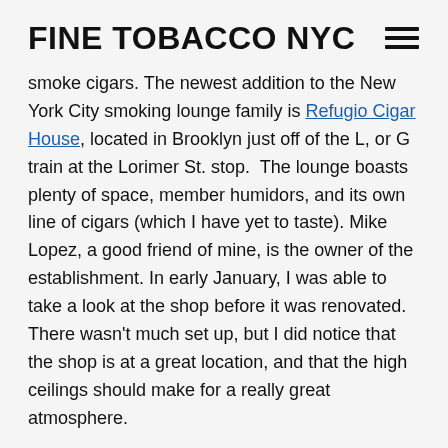FINE TOBACCO NYC
smoke cigars. The newest addition to the New York City smoking lounge family is Refugio Cigar House, located in Brooklyn just off of the L, or G train at the Lorimer St. stop.  The lounge boasts plenty of space, member humidors, and its own line of cigars (which I have yet to taste). Mike Lopez, a good friend of mine, is the owner of the establishment. In early January, I was able to take a look at the shop before it was renovated.  There wasn't much set up, but I did notice that the shop is at a great location, and that the high ceilings should make for a really great atmosphere.
Refugio Cigar House will be officially open for business next week. However, this Saturday (the 22nd) at 6:00pm – 11:00pm, Refugio Cigar House and FineTobaccoNYC are throwing a grand opening party.  All FineTobaccoNYC